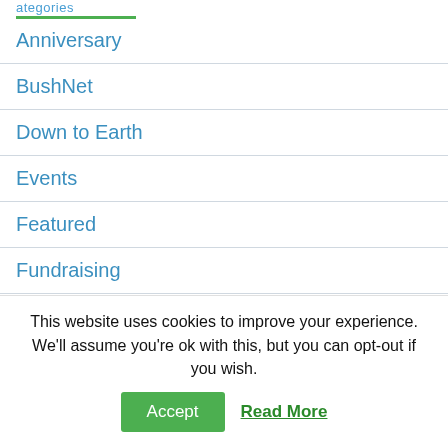Anniversary
BushNet
Down to Earth
Events
Featured
Fundraising
Long term opportunities
Membership
News
This website uses cookies to improve your experience. We'll assume you're ok with this, but you can opt-out if you wish.
Accept | Read More